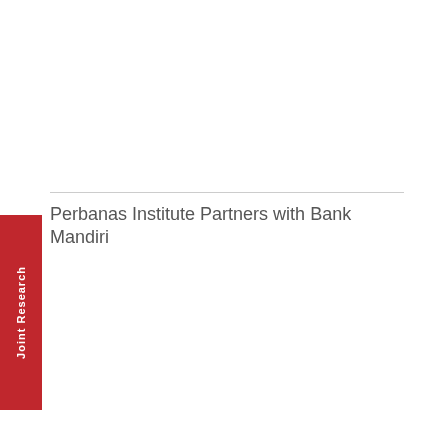Perbanas Institute Partners with Bank Mandiri
Joint Research
Perbanas Institute Holds Discussion Panel on National Economy
Student Exchange
Perbanas Institute Receives Award from Jakarta Government